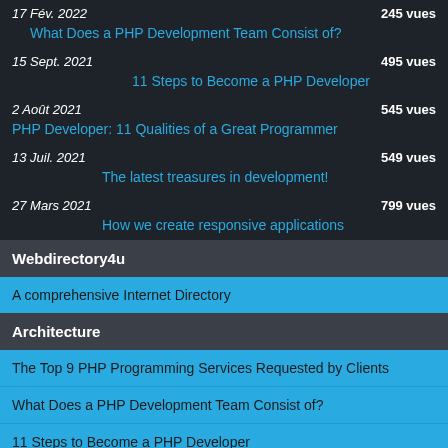17 Fév. 2022 — 245 vues — What Does a PHP Development Team Consist of?
15 Sept. 2021 — 495 vues — 11 Steps to Become a PHP Developer
2 Août 2021 — 545 vues — PHP Developer: 11 Qualities of a Great Programmer
13 Juil. 2021 — 549 vues — The latest treasures in development!
27 Mars 2021 — 799 vues — How we create responsive applications
Webdirectory4u
A comprehensive Internet Directory
Architecture
The Top 9 PHP Programming Services Requested by Clients
What Does a PHP Development Team Consist of?
11 Steps to Become a PHP Developer
PHP Developer: 11 Qualities of a Great Programmer
The latest treasures in development!